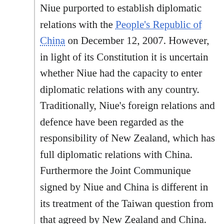Niue purported to establish diplomatic relations with the People's Republic of China on December 12, 2007. However, in light of its Constitution it is uncertain whether Niue had the capacity to enter diplomatic relations with any country. Traditionally, Niue's foreign relations and defence have been regarded as the responsibility of New Zealand, which has full diplomatic relations with China. Furthermore the Joint Communique signed by Niue and China is different in its treatment of the Taiwan question from that agreed by New Zealand and China. New Zealand "acknowledged" China's position on Taiwan but has never expressly agreed with it, but Niue "recognizes that there is only one China in the world, the Government of the People's Republic of China is the sole legal government representing the whole of China and Taiwan is an